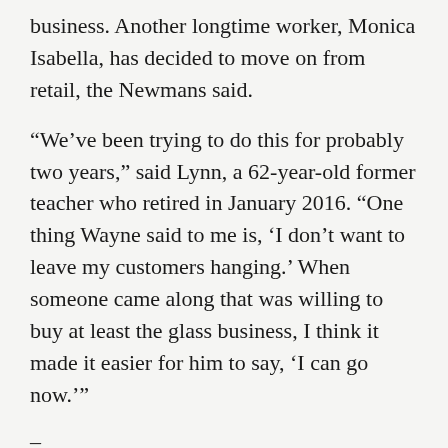business. Another longtime worker, Monica Isabella, has decided to move on from retail, the Newmans said.
“We’ve been trying to do this for probably two years,” said Lynn, a 62-year-old former teacher who retired in January 2016. “One thing Wayne said to me is, ‘I don’t want to leave my customers hanging.’ When someone came along that was willing to buy at least the glass business, I think it made it easier for him to say, ‘I can go now.’”
–
Customers
Since Wayne Newman announced his plan to retire and sell part of the business last month, he’s received a lot of retirement cards and congratulatory phone calls.
“I hope he enjoys his retirement, and we’re glad for the years of service,” said Art Devlin Jr., owner of the Olympic Motor